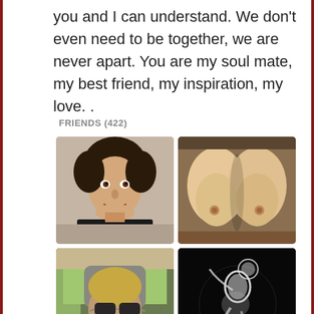you and I can understand. We don't even need to be together, we are never apart. You are my soul mate, my best friend, my inspiration, my love.  .
FRIENDS (422)
[Figure (photo): Grid of friend profile photos: young man selfie, NSFW image, man in car with sunglasses, dark artistic silhouette figure, and two more partially visible photos at the bottom]
[Figure (photo): Young man with dark hair, smiling, selfie style]
[Figure (photo): NSFW image blurred]
[Figure (photo): Man in car wearing sunglasses]
[Figure (photo): Dark image with white silhouette of seated figure]
[Figure (photo): Partial photo bottom left]
[Figure (photo): Partial photo bottom right]